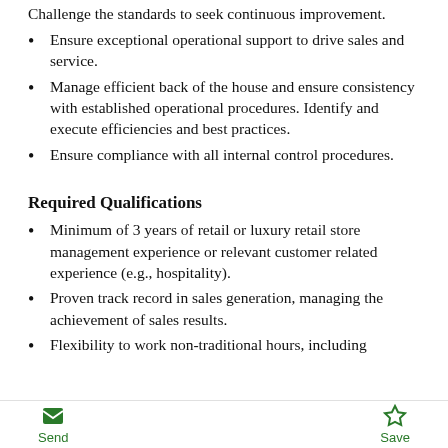Challenge the standards to seek continuous improvement.
Ensure exceptional operational support to drive sales and service.
Manage efficient back of the house and ensure consistency with established operational procedures. Identify and execute efficiencies and best practices.
Ensure compliance with all internal control procedures.
Required Qualifications
Minimum of 3 years of retail or luxury retail store management experience or relevant customer related experience (e.g., hospitality).
Proven track record in sales generation, managing the achievement of sales results.
Flexibility to work non-traditional hours, including
Send   Save